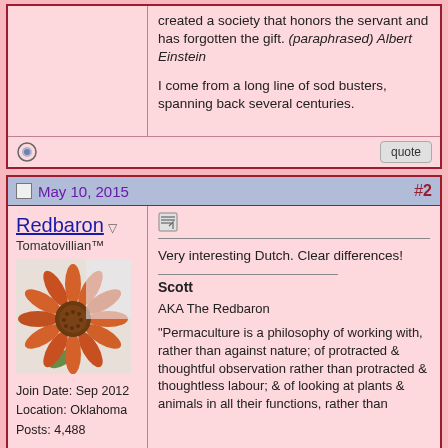created a society that honors the servant and has forgotten the gift. (paraphrased) Albert Einstein
I come from a long line of sod busters, spanning back several centuries.
May 10, 2015  #2
Redbaron
Tomatovillian™
Join Date: Sep 2012
Location: Oklahoma
Posts: 4,488
Very interesting Dutch. Clear differences!
Scott
AKA The Redbaron
"Permaculture is a philosophy of working with, rather than against nature; of protracted & thoughtful observation rather than protracted & thoughtless labour; & of looking at plants & animals in all their functions, rather than